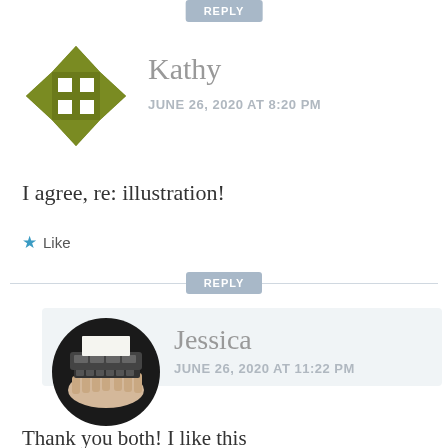REPLY
[Figure (illustration): Kathy user avatar: geometric olive green cross/diamond pattern with white square cutouts]
Kathy
JUNE 26, 2020 AT 8:20 PM
I agree, re: illustration!
★ Like
REPLY
[Figure (illustration): Jessica user avatar: circular black and white illustration of hands typing on a typewriter]
Jessica
JUNE 26, 2020 AT 11:22 PM
Thank you both! I like this